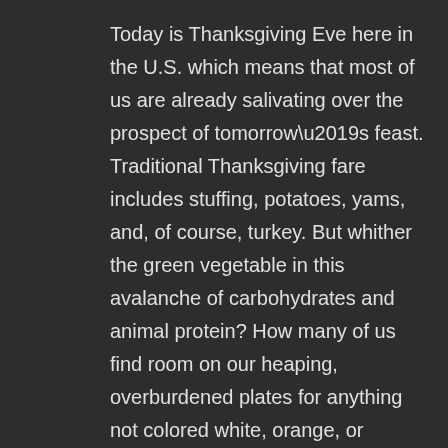Today is Thanksgiving Eve here in the U.S. which means that most of us are already salivating over the prospect of tomorrow’s feast. Traditional Thanksgiving fare includes stuffing, potatoes, yams, and, of course, turkey. But whither the green vegetable in this avalanche of carbohydrates and animal protein? How many of us find room on our heaping, overburdened plates for anything not colored white, orange, or brown?
This year can be different, if you’re up